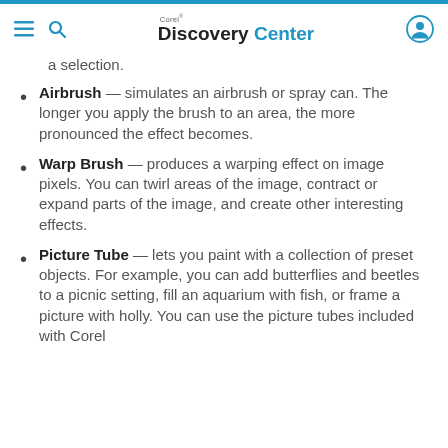Corel Discovery Center
a selection.
Airbrush — simulates an airbrush or spray can. The longer you apply the brush to an area, the more pronounced the effect becomes.
Warp Brush — produces a warping effect on image pixels. You can twirl areas of the image, contract or expand parts of the image, and create other interesting effects.
Picture Tube — lets you paint with a collection of preset objects. For example, you can add butterflies and beetles to a picnic setting, fill an aquarium with fish, or frame a picture with holly. You can use the picture tubes included with Corel